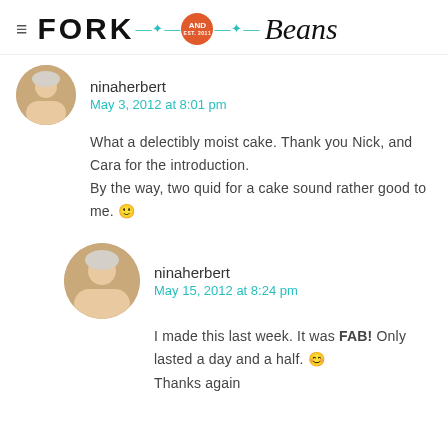FORK AND Beans EST. 2011
ninaherbert
May 3, 2012 at 8:01 pm

What a delectibly moist cake. Thank you Nick, and Cara for the introduction.
By the way, two quid for a cake sound rather good to me. 🙂
ninaherbert
May 15, 2012 at 8:24 pm

I made this last week. It was FAB! Only lasted a day and a half. 😊
Thanks again